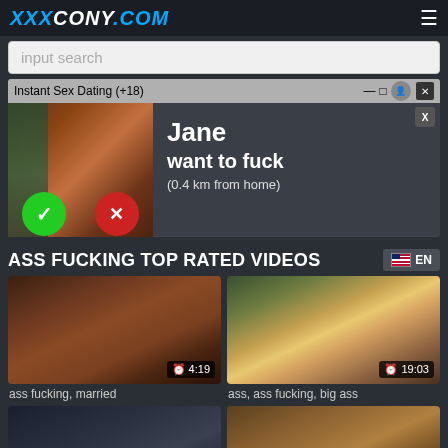XXXCONY.COM
input search
[Figure (screenshot): Popup ad: Instant Sex Dating (+18) showing a notification for Jane want to fuck (0.4 km from home) with accept/decline buttons]
ASS FUCKING TOP RATED VIDEOS
EN
[Figure (photo): Video thumbnail 1 - duration 4:19]
ass fucking, married
[Figure (photo): Video thumbnail 2 - duration 19:03]
ass, ass fucking, big ass
[Figure (photo): Video thumbnail 3 - partial view]
[Figure (photo): Video thumbnail 4 - partial view]